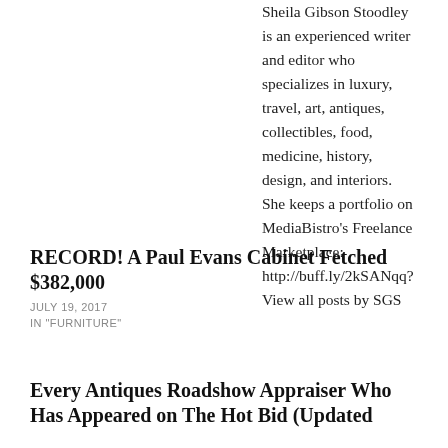Sheila Gibson Stoodley is an experienced writer and editor who specializes in luxury, travel, art, antiques, collectibles, food, medicine, history, design, and interiors. She keeps a portfolio on MediaBistro's Freelance Marketplace: http://buff.ly/2kSANqq? View all posts by SGS
RECORD! A Paul Evans Cabinet Fetched $382,000
JULY 19, 2017
IN "FURNITURE"
Every Antiques Roadshow Appraiser Who Has Appeared on The Hot Bid (Updated